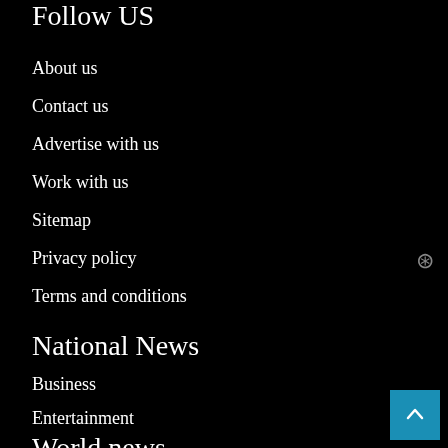Follow US
About us
Contact us
Advertise with us
Work with us
Sitemap
Privacy policy
Terms and conditions
National News
Business
Entertainment
World news